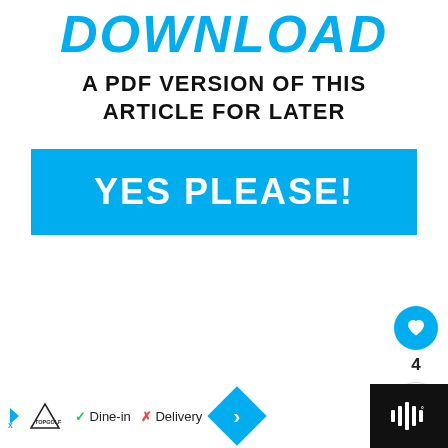DOWNLOAD
A PDF VERSION OF THIS ARTICLE FOR LATER
[Figure (other): Blue call-to-action button with white bold text 'YES PLEASE!']
[Figure (other): Social sidebar with heart/like button (blue circle, heart icon), count '4', and share button (white circle, share icon)]
4
[Figure (other): What's Next panel: thumbnail image on left, 'WHAT'S NEXT →' label in blue, title 'P2097 CODE – WHAT DOES...']
[Figure (other): Advertisement bar at bottom: TopGolf ad with Dine-in checkmark and Delivery X, navigation diamond arrow, and dark right panel with sound wave icon]